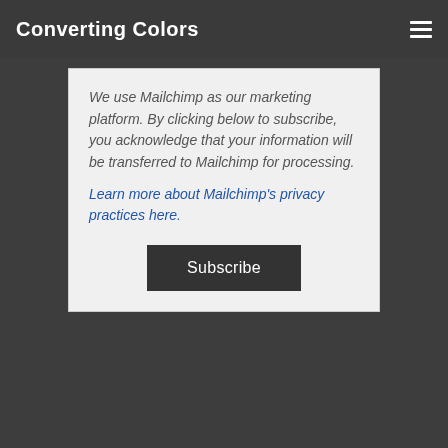Converting Colors
We use Mailchimp as our marketing platform. By clicking below to subscribe, you acknowledge that your information will be transferred to Mailchimp for processing.
Learn more about Mailchimp's privacy practices here.
Subscribe